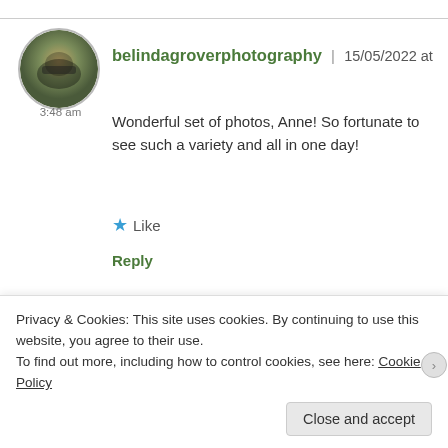[Figure (photo): Circular avatar photo of belindagroverphotography showing a person with camera in a forest setting]
belindagroverphotography | 15/05/2022 at 3:48 am
Wonderful set of photos, Anne! So fortunate to see such a variety and all in one day!
★ Like
Reply
[Figure (photo): Circular avatar photo of Anne showing a person with camera]
Anne | 15/05/2022 at 6:25 am
Privacy & Cookies: This site uses cookies. By continuing to use this website, you agree to their use.
To find out more, including how to control cookies, see here: Cookie Policy
Close and accept